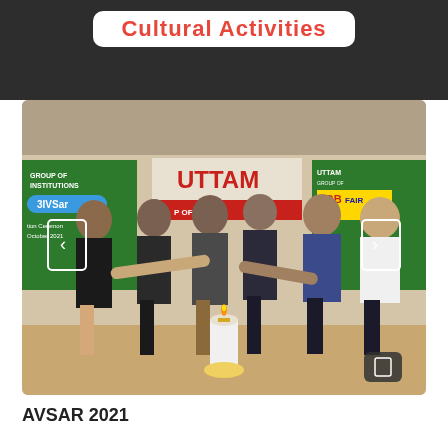Cultural Activities
[Figure (photo): Group of officials performing lamp lighting ceremony at UTTAM Group of Institutions AVSAR 2021 Job Fair inauguration. Five men stand around a brass lamp on a white-draped table. Banners in background read UTTAM Group of Institutions, AVSAR, Job Fair, Inauguration Ceremony October 2021.]
AVSAR 2021